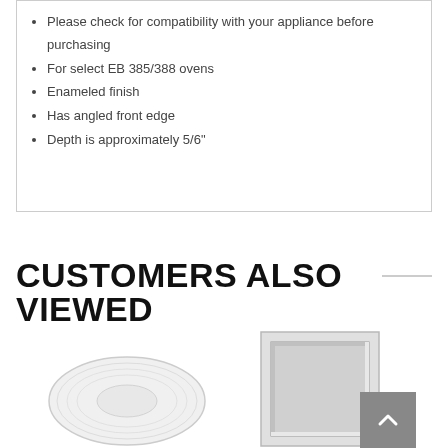Please check for compatibility with your appliance before purchasing
For select EB 385/388 ovens
Enameled finish
Has angled front edge
Depth is approximately 5/6"
CUSTOMERS ALSO VIEWED
[Figure (photo): Round glass plate or turntable dish, white/clear with ridged edges]
[Figure (photo): Rectangular baking pan or oven door panel, silver/gray metallic finish]